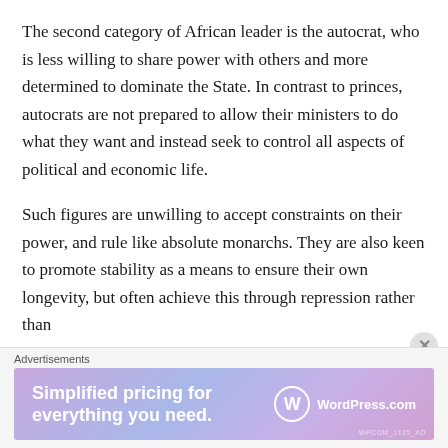The second category of African leader is the autocrat, who is less willing to share power with others and more determined to dominate the State. In contrast to princes, autocrats are not prepared to allow their ministers to do what they want and instead seek to control all aspects of political and economic life.
Such figures are unwilling to accept constraints on their power, and rule like absolute monarchs. They are also keen to promote stability as a means to ensure their own longevity, but often achieve this through repression rather than
Advertisements
[Figure (infographic): WordPress.com advertisement banner with gradient purple/blue background. Text reads 'Simplified pricing for everything you need.' with WordPress.com logo on the right.]